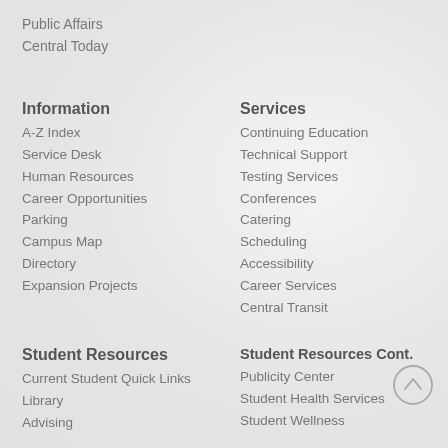Public Affairs
Central Today
Information
A-Z Index
Service Desk
Human Resources
Career Opportunities
Parking
Campus Map
Directory
Expansion Projects
Services
Continuing Education
Technical Support
Testing Services
Conferences
Catering
Scheduling
Accessibility
Career Services
Central Transit
Student Resources
Current Student Quick Links
Library
Advising
Student Resources Cont.
Publicity Center
Student Health Services
Student Wellness